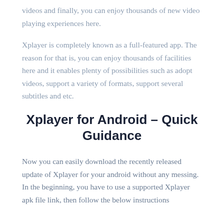videos and finally, you can enjoy thousands of new video playing experiences here.
Xplayer is completely known as a full-featured app. The reason for that is, you can enjoy thousands of facilities here and it enables plenty of possibilities such as adopt videos, support a variety of formats, support several subtitles and etc.
Xplayer for Android – Quick Guidance
Now you can easily download the recently released update of Xplayer for your android without any messing. In the beginning, you have to use a supported Xplayer apk file link, then follow the below instructions